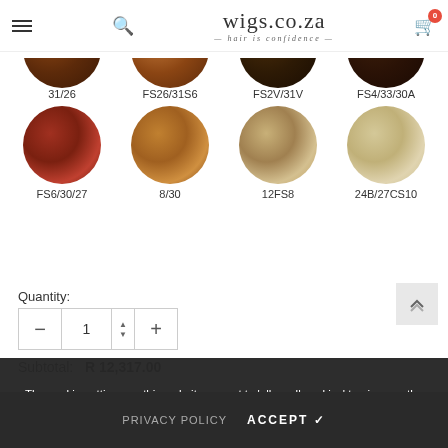wigs.co.za — hair is confidence
[Figure (photo): Eight circular hair color swatches arranged in two rows. Top row (partial): 31/26, FS26/31S6, FS2V/31V, FS4/33/30A. Bottom row (full): FS6/30/27, 8/30, 12FS8, 24B/27CS10]
Quantity:
1
Subtotal:  R 12,317.00
The cookie settings on this website are set to 'allow all cookies' to give you the very best experience. Please click Accept Cookies to continue to use the site.
PRIVACY POLICY   ACCEPT ✔